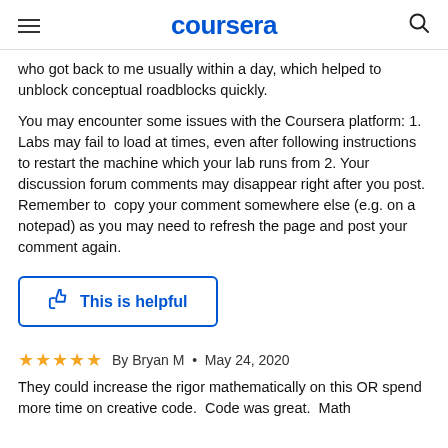coursera
who got back to me usually within a day, which helped to unblock conceptual roadblocks quickly.
You may encounter some issues with the Coursera platform: 1. Labs may fail to load at times, even after following instructions to restart the machine which your lab runs from 2. Your discussion forum comments may disappear right after you post. Remember to  copy your comment somewhere else (e.g. on a notepad) as you may need to refresh the page and post your comment again.
This is helpful
By Bryan M • May 24, 2020
They could increase the rigor mathematically on this OR spend more time on creative code.  Code was great.  Math